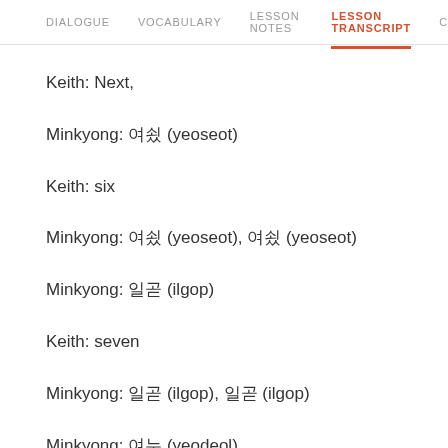DIALOGUE   VOCABULARY   LESSON NOTES   LESSON TRANSCRIPT   C
Keith: Next,
Minkyong: 여섯 (yeoseot)
Keith: six
Minkyong: 여섯 (yeoseot), 여섯 (yeoseot)
Minkyong: 일곱 (ilgop)
Keith: seven
Minkyong: 일곱 (ilgop), 일곱 (ilgop)
Minkyong: 여덟 (yeodeol)